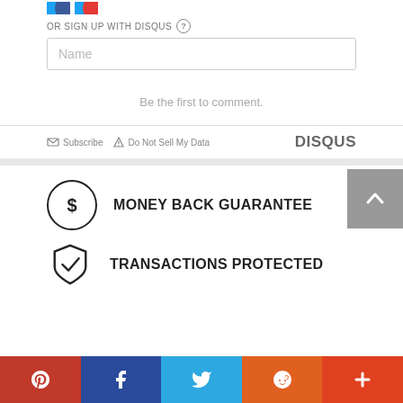[Figure (other): Social media share icon circles (partial, cropped at top)]
OR SIGN UP WITH DISQUS
[Figure (other): Name input field placeholder]
Be the first to comment.
Subscribe   Do Not Sell My Data   DISQUS
MONEY BACK GUARANTEE
TRANSACTIONS PROTECTED
[Figure (other): Social share bar at bottom: Pinterest, Facebook, Twitter, Reddit, More]